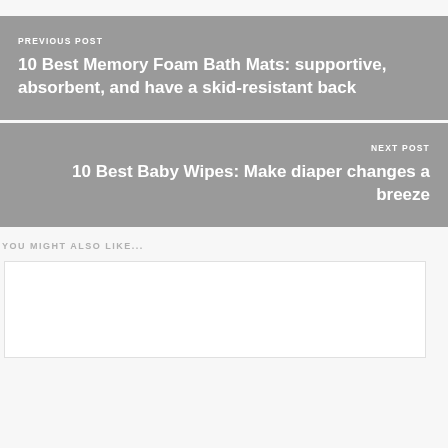PREVIOUS POST
10 Best Memory Foam Bath Mats: supportive, absorbent, and have a skid-resistant back
NEXT POST
10 Best Baby Wipes: Make diaper changes a breeze
YOU MIGHT ALSO LIKE...
[Figure (other): Empty white card placeholder]